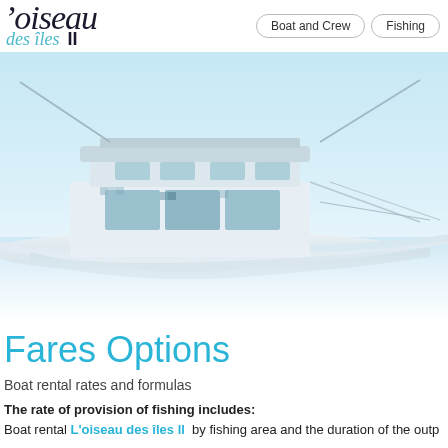L'oiseau des îles II — Boat and Crew | Fishing
[Figure (photo): A large white sport fishing boat photographed against a light blue sky and water background. The boat features an upper bridge, cabin windows, outriggers, and a white hull.]
Fares Options
Boat rental rates and formulas
The rate of provision of fishing includes: Boat rental L'oiseau des îles ll by fishing area and the duration of the outp